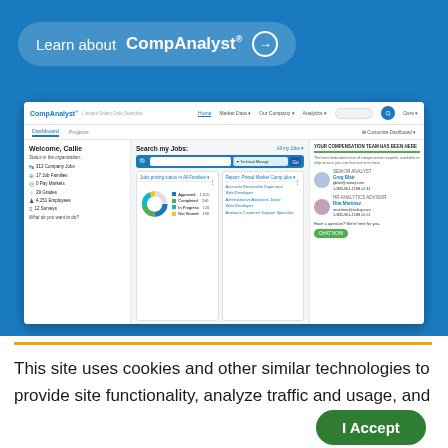[Figure (screenshot): CompAnalyst web application banner with 'Learn about CompAnalyst' button]
[Figure (screenshot): CompAnalyst dashboard screenshot showing welcome screen for Callie, with job search, donut chart of job pricing statuses, and consultant contacts panel]
This site uses cookies and other similar technologies to provide site functionality, analyze traffic and usage, and deliver content tailored to your interests. | Learn More
[Figure (other): I Accept button - green rounded button for cookie consent]